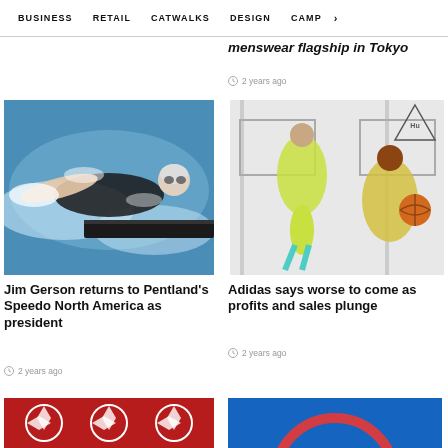BUSINESS   RETAIL   CATWALKS   DESIGN   CAMP >
menswear flagship in Tokyo
2 years ago
[Figure (photo): Female swimmer in black swimsuit and goggles swimming freestyle in pool]
Jim Gerson returns to Pentland's Speedo North America as president
2 years ago
[Figure (photo): Two athletes in yellow-green tie-dye outfits near a basketball hoop; triangle logo with 'Hu' visible]
Adidas says worse to come as profits and sales plunge
2 years ago
[Figure (photo): Dark red background with white geometric/flower pattern]
[Figure (photo): Blue background with partial circular/arc shape in foreground]